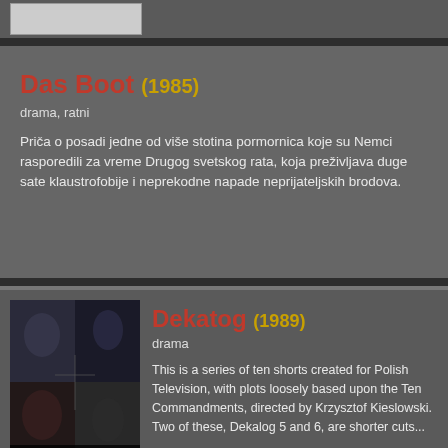[Figure (screenshot): Top strip with a small image placeholder showing '25 JUNE | NETFLIX' banner]
Das Boot (1985)
drama, ratni
Priča o posadi jedne od više stotina pormornica koje su Nemci rasporedili za vreme Drugog svetskog rata, koja preživljava duge sate klaustrofobije i neprekodne napade neprijateljskih brodova.
[Figure (photo): Movie poster for The Decalogue (Dekatog) - black and white film collage image]
Dekatog (1989)
drama
This is a series of ten shorts created for Polish Television, with plots loosely based upon the Ten Commandments, directed by Krzysztof Kieslowski. Two of these, Dekalog 5 and 6, are shorter cuts...